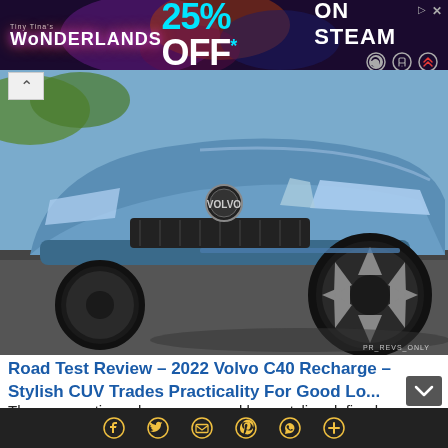[Figure (other): Advertisement banner for Tiny Tina's Wonderlands game showing 25% OFF on Steam]
[Figure (photo): Front close-up photo of a blue 2022 Volvo C40 Recharge electric CUV parked in a lot, showing the front fascia, headlights, and large alloy wheel]
Road Test Review – 2022 Volvo C40 Recharge – Stylish CUV Trades Practicality For Good Lo...
There was a time when square and boxy styling defined many SUV and other utility offerings. Volvo was once considered a prominent player in this cube-